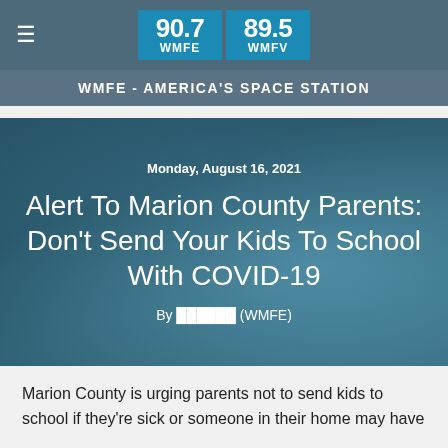90.7 WMFE | 89.5 WMFV — WMFE - AMERICA'S SPACE STATION
[Figure (photo): Hero image of a child with a teal/blue overlay background]
Monday, August 16, 2021
Alert To Marion County Parents: Don't Send Your Kids To School With COVID-19
By [author name] (WMFE)
Marion County is urging parents not to send kids to school if they're sick or someone in their home may have